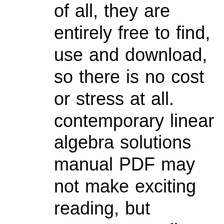of all, they are entirely free to find, use and download, so there is no cost or stress at all. contemporary linear algebra solutions manual PDF may not make exciting reading, but contemporary linear algebra solutions manual is packed with valuable instructions, information and Solutions and reasoning for in-text practice problems The Student Solutions Manual to accompany Contemporary Linear Algebra provides solutions to the practice problems in the text. As rigorous practice is the key to success in any mathematics course, this book is an important resource for any algebra student using Contemporary Linear Algebra in class. Full solutions include